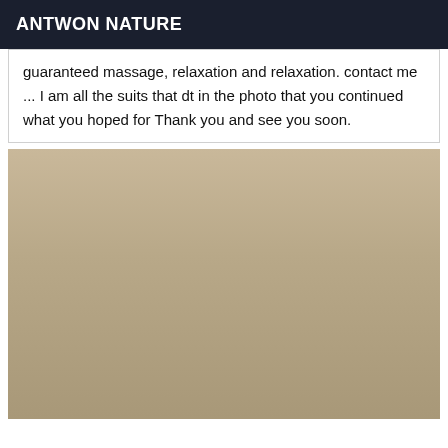ANTWON NATURE
guaranteed massage, relaxation and relaxation. contact me ... I am all the suits that dt in the photo that you continued what you hoped for Thank you and see you soon.
[Figure (photo): A woman with blonde hair wearing a red top, with tattoos visible, standing in a room with a framed picture on the wall. A mirrored watermark text reads 'UME ENVIE 0781648293' at the bottom.]